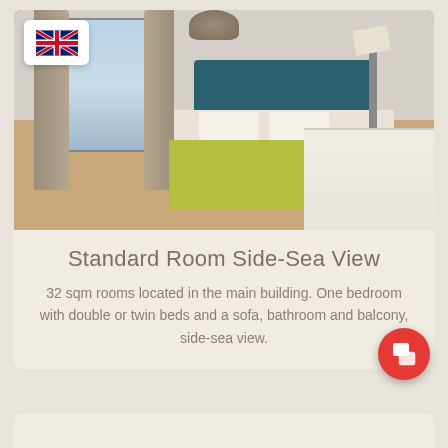[Figure (photo): Hotel standard room with twin beds featuring green/yellow bedspreads, teal headboard, hardwood floors, curtains, ceiling pendant lamp, floor lamp, nightstand, and balcony with city/sea view]
Standard Room Side-Sea View
32 sqm rooms located in the main building. One bedroom with double or twin beds and a sofa, bathroom and balcony, side-sea view.